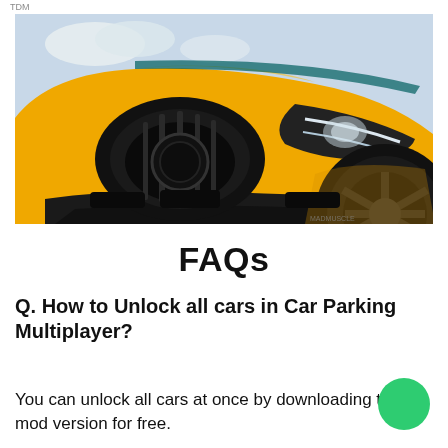TDM
[Figure (photo): Close-up front view of a yellow sports car (Mercedes-AMG style) with black grille, LED headlights, and dark alloy wheel, against a sandy/cloudy background.]
FAQs
Q. How to Unlock all cars in Car Parking Multiplayer?
You can unlock all cars at once by downloading the mod version for free.